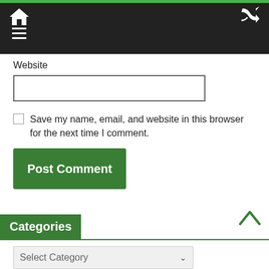Navigation bar with home icon, hamburger menu, and shuffle icon
Website
[Figure (screenshot): Empty text input box for website URL]
[Figure (screenshot): Unchecked checkbox]
Save my name, email, and website in this browser for the next time I comment.
[Figure (screenshot): Green Post Comment button]
Categories
[Figure (screenshot): Select Category dropdown]
[Figure (screenshot): Back to top chevron arrow in green]